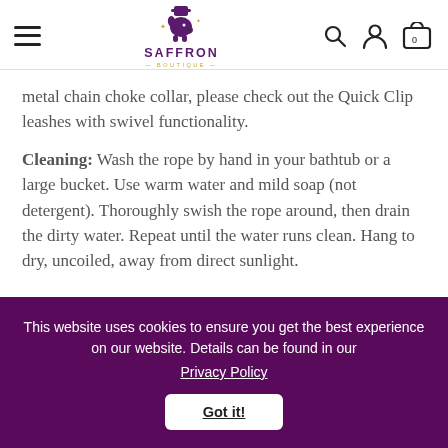Saffron Boutique — navigation header with hamburger menu, logo, search, account, and cart icons
metal chain choke collar, please check out the Quick Clip leashes with swivel functionality.
Cleaning: Wash the rope by hand in your bathtub or a large bucket. Use warm water and mild soap (not detergent). Thoroughly swish the rope around, then drain the dirty water. Repeat until the water runs clean. Hang to dry, uncoiled, away from direct sunlight.
This website uses cookies to ensure you get the best experience on our website. Details can be found in our Privacy Policy
Got it!